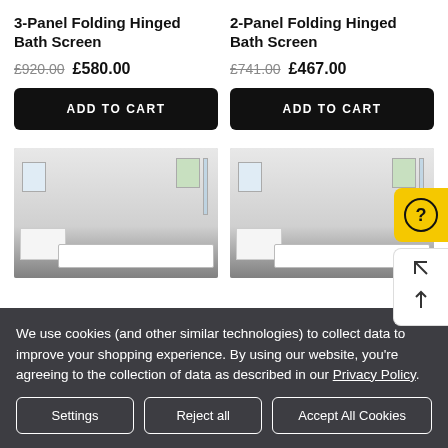3-Panel Folding Hinged Bath Screen
£920.00  £580.00
ADD TO CART
2-Panel Folding Hinged Bath Screen
£741.00  £467.00
ADD TO CART
[Figure (photo): Bathroom scene showing folding bath screen with cabinet and bathtub (left product)]
[Figure (photo): Bathroom scene showing folding bath screen with cabinet and bathtub (right product)]
We use cookies (and other similar technologies) to collect data to improve your shopping experience. By using our website, you're agreeing to the collection of data as described in our Privacy Policy.
Settings
Reject all
Accept All Cookies